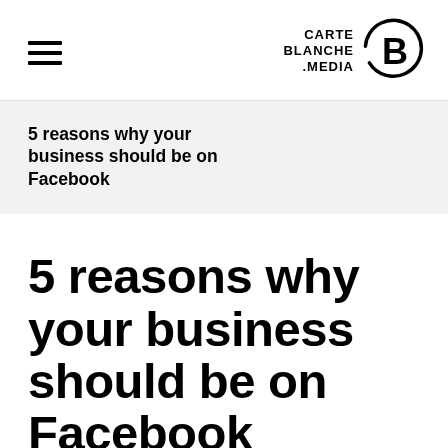CARTE BLANCHE .MEDIA
5 reasons why your business should be on Facebook
5 reasons why your business should be on Facebook
If you're a business owner who's not on social media,